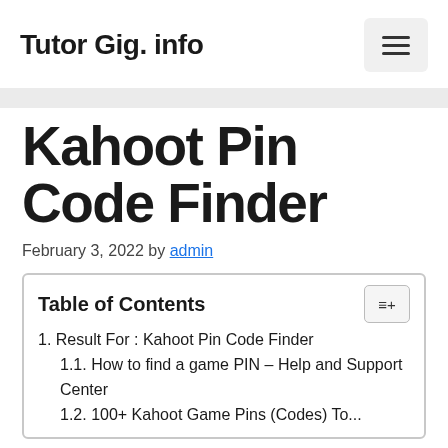Tutor Gig. info
Kahoot Pin Code Finder
February 3, 2022 by admin
| Table of Contents |
| --- |
| 1. Result For : Kahoot Pin Code Finder |
| 1.1. How to find a game PIN – Help and Support Center |
| 1.2. 100+ Kahoot Game Pins (Codes) To... |